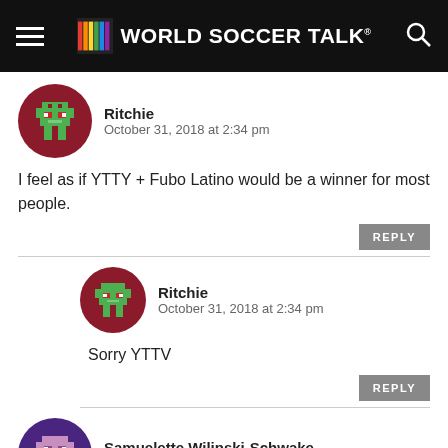WORLD SOCCER TALK
Ritchie
October 31, 2018 at 2:34 pm
I feel as if YTTY + Fubo Latino would be a winner for most people.
Ritchie
October 31, 2018 at 2:34 pm
Sorry YTTV
Samuelette Wilinski-Schwake
October 30, 2018 at 1:40 pm
at about streaming services in Canada that include the ndesliga plus some other Europian Soccer? As for other